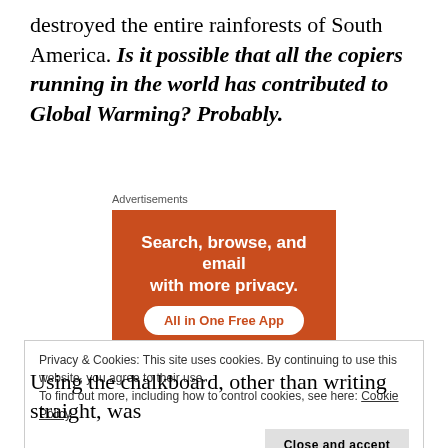destroyed the entire rainforests of South America. Is it possible that all the copiers running in the world has contributed to Global Warming? Probably.
[Figure (screenshot): Advertisement banner for a privacy app showing text 'Search, browse, and email with more privacy. All in One Free App' on an orange background with a smartphone image.]
Privacy & Cookies: This site uses cookies. By continuing to use this website, you agree to their use.
To find out more, including how to control cookies, see here: Cookie Policy
Using the chalkboard, other than writing straight, was